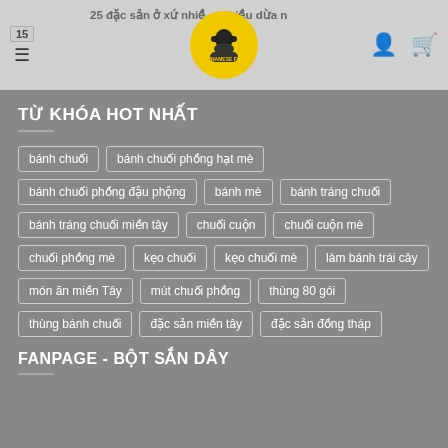15 | 25 đặc sản ở xứ nhiều dừa nhất Việt Nam
TỪ KHÓA HOT NHẤT
bánh chuối
bánh chuối phồng hạt mè
bánh chuối phồng đậu phộng
bánh mè
bánh tráng chuối
bánh tráng chuối miền tây
chuối cuộn
chuối cuộn mè
chuối phồng mè
kẹo chuối
kẹo chuối mè
làm bánh trái cây
món ăn miền Tây
mút chuối phồng
thùng 80 gói
thùng bánh chuối
đặc sản miền tây
đặc sản đồng tháp
FANPAGE - BỘT SẮN DÂY